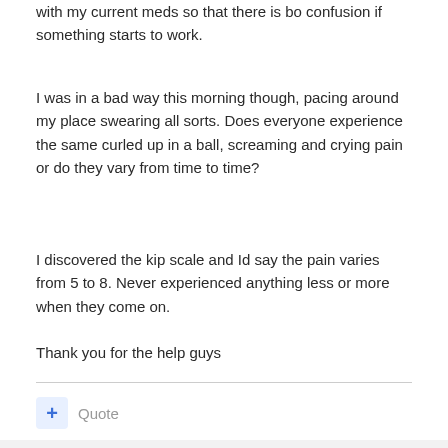with my current meds so that there is bo confusion if something starts to work.
I was in a bad way this morning though, pacing around my place swearing all sorts. Does everyone experience the same curled up in a ball, screaming and crying pain or do they vary from time to time?
I discovered the kip scale and Id say the pain varies from 5 to 8. Never experienced anything less or more when they come on.

Thank you for the help guys
Quote
CHfather
Posted May 18, 2017